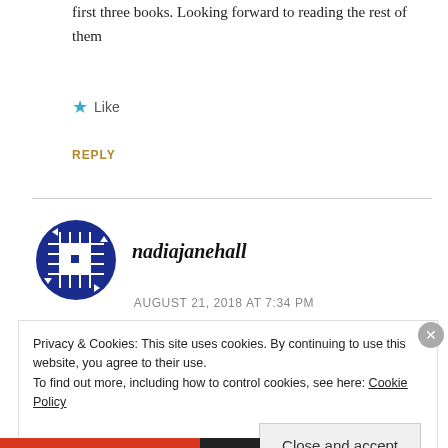first three books. Looking forward to reading the rest of them
Like
REPLY
[Figure (logo): Blue waffle/grid pattern circular avatar icon for user nadiajanehall]
nadiajanehall
AUGUST 21, 2018 AT 7:34 PM
Privacy & Cookies: This site uses cookies. By continuing to use this website, you agree to their use.
To find out more, including how to control cookies, see here: Cookie Policy
Close and accept